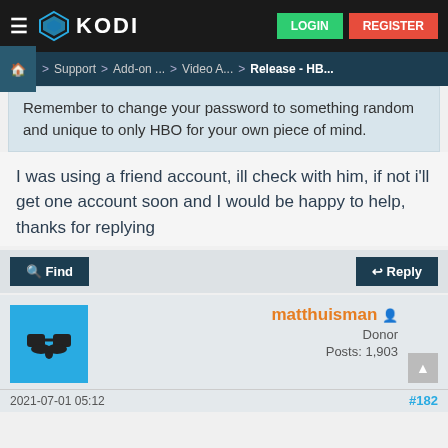KODI — LOGIN | REGISTER
Home > Support > Add-on ... > Video A... > Release - HB...
Remember to change your password to something random and unique to only HBO for your own piece of mind.
I was using a friend account, ill check with him, if not i'll get one account soon and I would be happy to help, thanks for replying
Find    Reply
matthuisman
Donor
Posts: 1,903
2021-07-01 05:12    #182